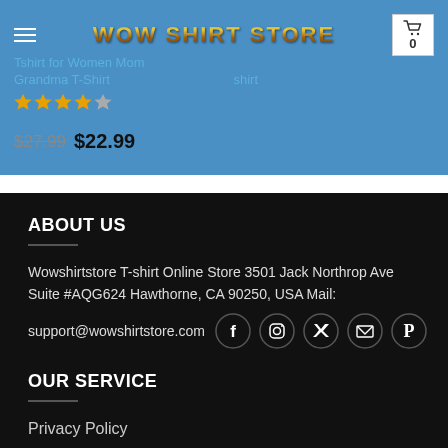WOW SHIRT STORE – navigation bar with hamburger menu and cart showing 0
Tshirt for Women Mom
Grandma T-Shirt
$27.99  $22.99
ABOUT US
Wowshirtstore T-shirt Online Store 3501 Jack Northrop Ave Suite #AQG624 Hawthorne, CA 90250, USA Mail:
support@wowshirtstore.com
OUR SERVICE
Privacy Policy
Terms Of Service